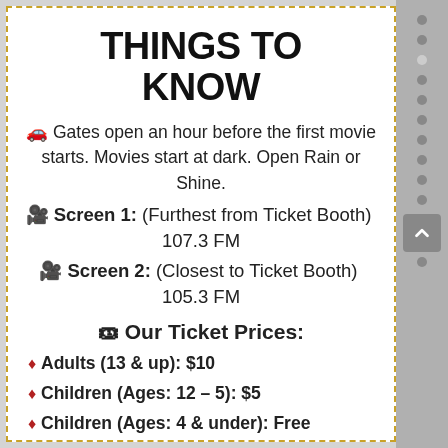THINGS TO KNOW
🚗 Gates open an hour before the first movie starts. Movies start at dark. Open Rain or Shine.
🎥 Screen 1: (Furthest from Ticket Booth)  107.3 FM
🎥 Screen 2: (Closest to Ticket Booth)  105.3 FM
🎟 Our Ticket Prices:
♦ Adults (13 & up): $10
♦ Children (Ages: 12 – 5): $5
♦ Children (Ages: 4 & under): Free